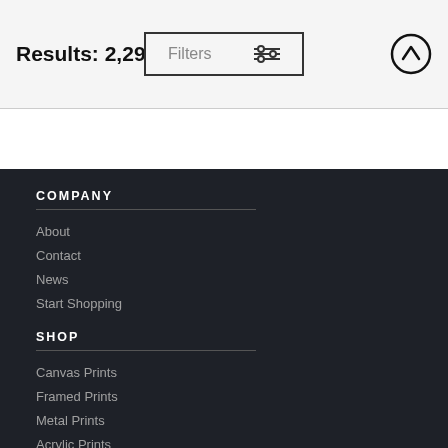Results: 2,294
Filters
COMPANY
About
Contact
News
Start Shopping
SHOP
Canvas Prints
Framed Prints
Metal Prints
Acrylic Prints
Wood Prints
Art Prints
Tapestries
Print NFTs